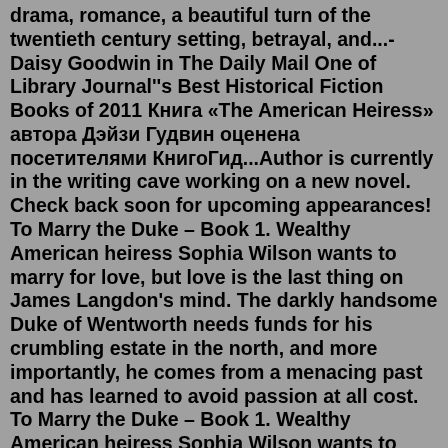drama, romance, a beautiful turn of the twentieth century setting, betrayal, and...-Daisy Goodwin in The Daily Mail One of Library Journal''s Best Historical Fiction Books of 2011 Книга «The American Heiress» автора Дэйзи Гудвин оценена посетителями КнигоГид...Author is currently in the writing cave working on a new novel. Check back soon for upcoming appearances! To Marry the Duke – Book 1. Wealthy American heiress Sophia Wilson wants to marry for love, but love is the last thing on James Langdon's mind. The darkly handsome Duke of Wentworth needs funds for his crumbling estate in the north, and more importantly, he comes from a menacing past and has learned to avoid passion at all cost. To Marry the Duke – Book 1. Wealthy American heiress Sophia Wilson wants to marry for love, but love is the last thing on James Langdon's mind. The darkly handsome Duke of Wentworth needs funds for his crumbling estate in the north, and more importantly, he comes from a menacing past and has learned to avoid passion at all cost. Aug 02, 2016 ...